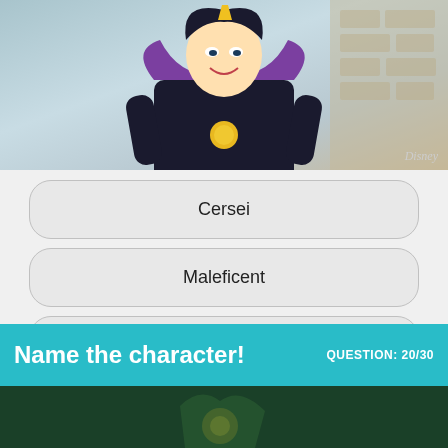[Figure (illustration): Disney animated character (villain with purple and black outfit) shown from torso up against a light blue/teal background. Disney watermark in bottom right of image.]
Cersei
Maleficent
Evil Stepmother
[Figure (logo): Pink/salmon circular logo with letter W inside]
Name the character!
QUESTION: 20/30
[Figure (screenshot): Dark green scene from animated show/game showing partial character or object with glowing yellow element]